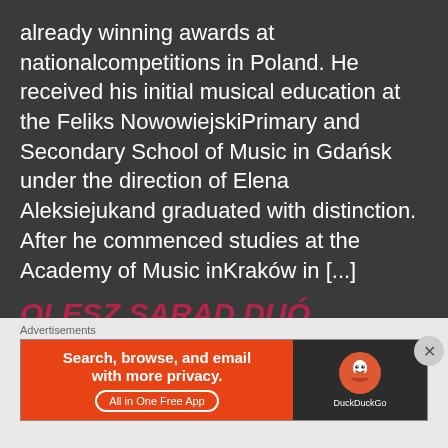already winning awards at nationalcompetitions in Poland. He received his initial musical education at the Feliks NowowiejskiPrimary and Secondary School of Music in Gdańsk under the direction of Elena Aleksiejukand graduated with distinction. After he commenced studies at the Academy of Music inKraków in [...]
OLESZ SARAD DUÓ Chamber Music
OleszSarad Duo  Jan Olesz Pianist was born in 1999 and, as a child, was already winning awards at nationalcompetitions in Poland. He received his initial musical education at the Feliks
[Figure (screenshot): DuckDuckGo advertisement banner with orange left section reading 'Search, browse, and email with more privacy. All in One Free App' and dark right section with DuckDuckGo duck logo]
Advertisements